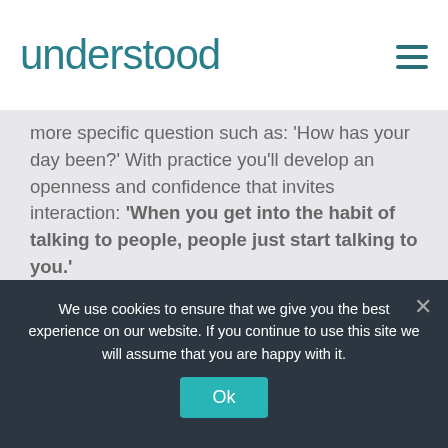understood
more specific question such as: 'How has your day been?' With practice you'll develop an openness and confidence that invites interaction: 'When you get into the habit of talking to people, people just start talking to you.'
Let's strike up a conversation today. Get in touch to chat
We use cookies to ensure that we give you the best experience on our website. If you continue to use this site we will assume that you are happy with it.